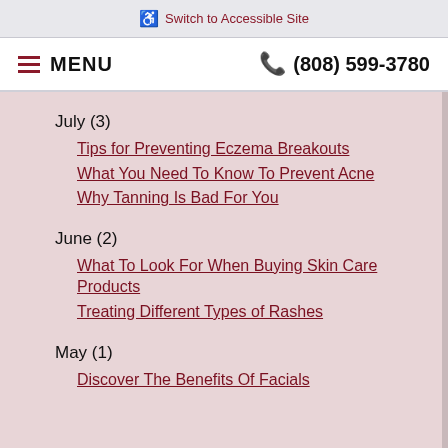♿ Switch to Accessible Site
≡ MENU   ☎ (808) 599-3780
July (3)
Tips for Preventing Eczema Breakouts
What You Need To Know To Prevent Acne
Why Tanning Is Bad For You
June (2)
What To Look For When Buying Skin Care Products
Treating Different Types of Rashes
May (1)
Discover The Benefits Of Facials